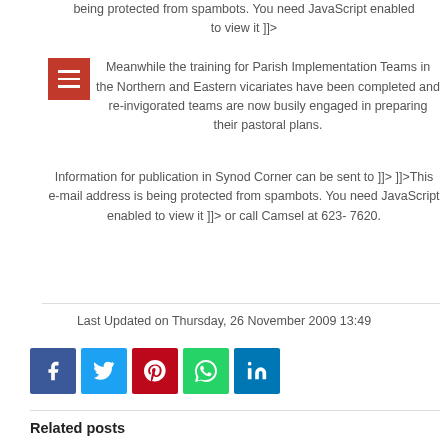being protected from spambots. You need JavaScript enabled to view it ]]>
Meanwhile the training for Parish Implementation Teams in the Northern and Eastern vicariates have been completed and re-invigorated teams are now busily engaged in preparing their pastoral plans.
Information for publication in Synod Corner can be sent to ]]> ]]>This e-mail address is being protected from spambots. You need JavaScript enabled to view it ]]> or call Camsel at 623-7620.
Last Updated on Thursday, 26 November 2009 13:49
[Figure (infographic): Social media share buttons: Facebook, Twitter, Pinterest, WhatsApp, LinkedIn]
Related posts